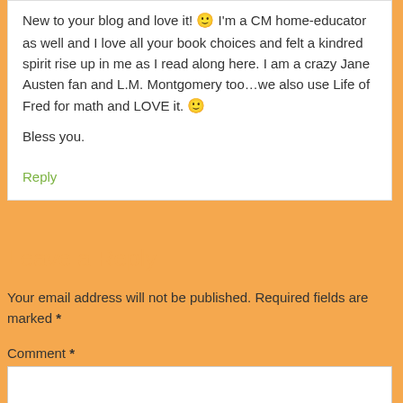New to your blog and love it! 🙂 I'm a CM home-educator as well and I love all your book choices and felt a kindred spirit rise up in me as I read along here. I am a crazy Jane Austen fan and L.M. Montgomery too…we also use Life of Fred for math and LOVE it. 🙂
Bless you.
Reply
Leave a Reply
Your email address will not be published. Required fields are marked *
Comment *